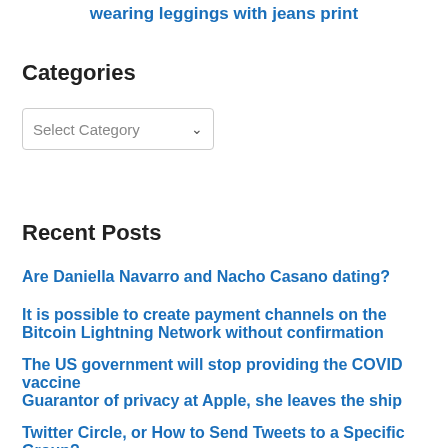wearing leggings with jeans print
Categories
[Figure (screenshot): Select Category dropdown widget]
Recent Posts
Are Daniella Navarro and Nacho Casano dating?
It is possible to create payment channels on the Bitcoin Lightning Network without confirmation
The US government will stop providing the COVID vaccine
Guarantor of privacy at Apple, she leaves the ship
Twitter Circle, or How to Send Tweets to a Specific Group?